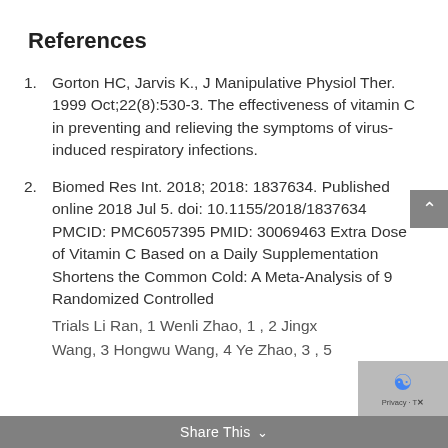References
Gorton HC, Jarvis K., J Manipulative Physiol Ther. 1999 Oct;22(8):530-3. The effectiveness of vitamin C in preventing and relieving the symptoms of virus-induced respiratory infections.
Biomed Res Int. 2018; 2018: 1837634. Published online 2018 Jul 5. doi: 10.1155/2018/1837634 PMCID: PMC6057395 PMID: 30069463 Extra Dose of Vitamin C Based on a Daily Supplementation Shortens the Common Cold: A Meta-Analysis of 9 Randomized Controlled Trials Li Ran, 1 Wenli Zhao, 1 , 2 Jingx Wang, 3 Hongwu Wang, 4 Ye Zhao, 3 , 5